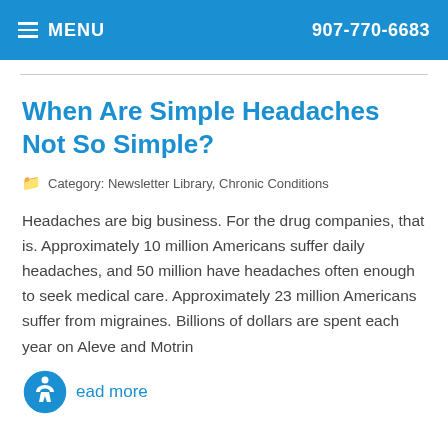MENU  907-770-6683
When Are Simple Headaches Not So Simple?
Category: Newsletter Library, Chronic Conditions
Headaches are big business. For the drug companies, that is. Approximately 10 million Americans suffer daily headaches, and 50 million have headaches often enough to seek medical care. Approximately 23 million Americans suffer from migraines. Billions of dollars are spent each year on Aleve and Motrin
Read more